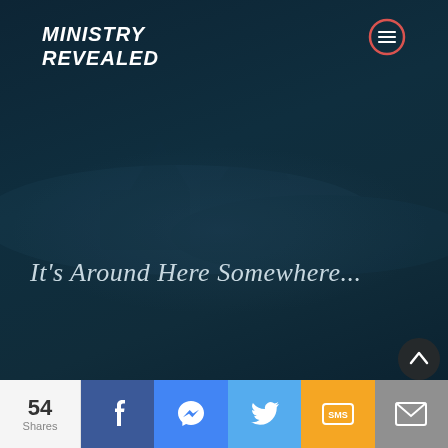[Figure (screenshot): Ministry Revealed website screenshot showing a dark teal background with a logo in the top left, a hamburger menu icon in a red circle in the top right, faint background imagery in the middle, italic text reading "It's Around Here Somewhere..." overlaid on the dark background, and a share bar at the bottom with 54 Shares, Facebook, Messenger, Twitter, SMS, and Email buttons.]
MINISTRY
REVEALED
It's Around Here Somewhere...
54 Shares